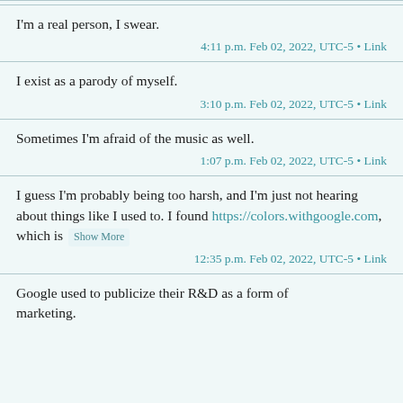I'm a real person, I swear.
4:11 p.m. Feb 02, 2022, UTC-5 • Link
I exist as a parody of myself.
3:10 p.m. Feb 02, 2022, UTC-5 • Link
Sometimes I'm afraid of the music as well.
1:07 p.m. Feb 02, 2022, UTC-5 • Link
I guess I'm probably being too harsh, and I'm just not hearing about things like I used to. I found https://colors.withgoogle.com, which is   Show More
12:35 p.m. Feb 02, 2022, UTC-5 • Link
Google used to publicize their R&D as a form of marketing.